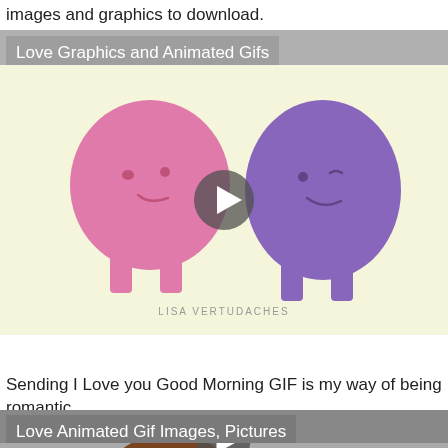images and graphics to download.
Love Graphics and Animated Gifs
[Figure (illustration): Two cartoon blob characters facing each other — a pink one on the left and a purple one on the right — with a play button circle in the center. Watermark reads 'LISA VERTUDACHES' at the bottom.]
Sending I Love you Good Morning GIF is my way of being romantic.
Love Animated Gif Images, Pictures
[Figure (illustration): Cartoon anime-style boy with brown hair and large eyes, partially visible, with a play button at the bottom center.]